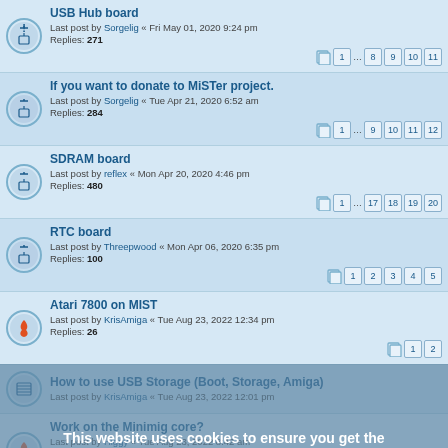USB Hub board | Last post by Sorgelig « Fri May 01, 2020 9:24 pm | Replies: 271 | Pages: 1 ... 8 9 10 11
If you want to donate to MiSTer project. | Last post by Sorgelig « Tue Apr 21, 2020 6:52 am | Replies: 284 | Pages: 1 ... 9 10 11 12
SDRAM board | Last post by reflex « Mon Apr 20, 2020 4:46 pm | Replies: 480 | Pages: 1 ... 17 18 19 20
RTC board | Last post by Threepwood « Mon Apr 06, 2020 6:35 pm | Replies: 100 | Pages: 1 2 3 4 5
Atari 7800 on MIST | Last post by KrisAmiga « Tue Aug 23, 2022 12:34 pm | Replies: 26 | Pages: 1 2
How to use USB Storage (Boot, Storage, Amiga) | Last post by KrisAmiga « Tue Aug 23, 2022 12:01 pm
Work on the Minimig core? | Last post by Higgy « Tue Aug 23, 2022 8:42 am | Replies: 991 | Pages: 1 ... 37 38 39 40
NEW OR UPDATED ARCADE CORES | Last post by DanyPPC « Sat Aug 20, 2022 7:07 am | Replies: 1208 | Pages: 1 ... 46 47 48 49
This website uses cookies to ensure you get the best experience on our website. Learn more